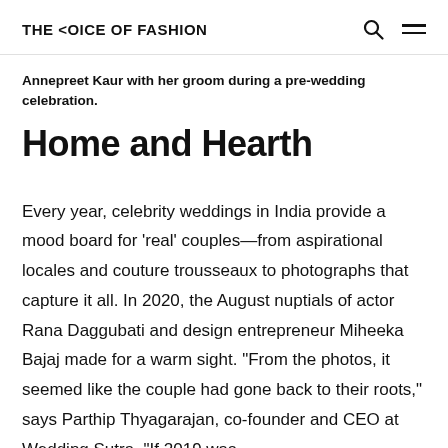THE <OICE OF FASHION
Annepreet Kaur with her groom during a pre-wedding celebration.
Home and Hearth
Every year, celebrity weddings in India provide a mood board for 'real' couples—from aspirational locales and couture trousseaux to photographs that capture it all. In 2020, the August nuptials of actor Rana Daggubati and design entrepreneur Miheeka Bajaj made for a warm sight. "From the photos, it seemed like the couple had gone back to their roots," says Parthip Thyagarajan, co-founder and CEO at Wedding Sutra. "If 2019 was...